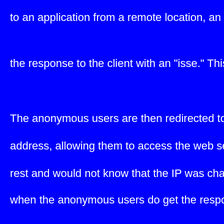to an application from a remote location, an HTTP proxy co the response to the client with an "isse." This is not very se The anonymous users are then redirected to the "isse" pag address, allowing them to access the web server. But even rest and would not know that the IP was changed, so it wou when the anonymous users do get the response, they may have been redirected. This is what happens with SRP, whe SRV record. The content of the SRV record has the extensi api but can be identified by a web browser.